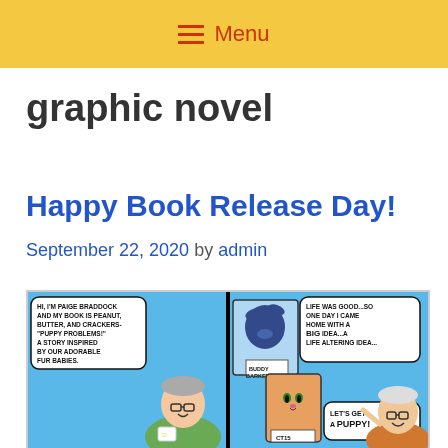≡ Menu
graphic novel
Happy Book Release Day!
September 22, 2020 by admin
[Figure (illustration): Comic strip showing Paige Braddock introducing her book 'Peanut, Butter, and Crackers - Puppy Problems!' with speech bubbles. Left panel: character saying 'Hi, I'm Paige Braddock and my book is Peanut, Butter, and Crackers - Puppy Problems! A story inspired by our adorable fur babies.' Right panel: character saying 'Life was good...so one day I came home with a BIG idea...a life altering idea...' with a speech bubble at the bottom saying 'Let's get a puppy!' A Buddy Barker sign and a cat/puppy image are visible.]